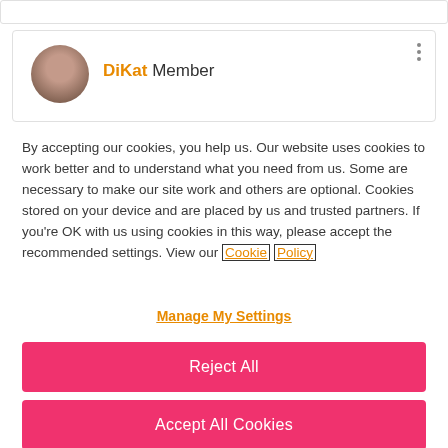[Figure (screenshot): Top gray bar strip]
[Figure (screenshot): User profile card showing avatar photo and DiKat Member label with three-dot menu]
By accepting our cookies, you help us. Our website uses cookies to work better and to understand what you need from us. Some are necessary to make our site work and others are optional. Cookies stored on your device and are placed by us and trusted partners. If you're OK with us using cookies in this way, please accept the recommended settings. View our Cookie Policy
Manage My Settings
Reject All
Accept All Cookies